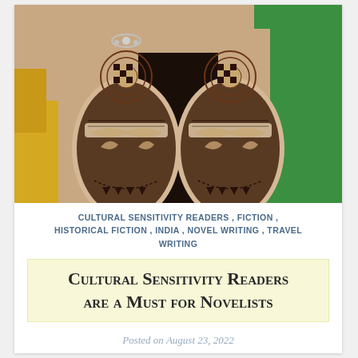[Figure (photo): Photo of two hands/wrists with elaborate henna (mehndi) designs. Dark brown intricate patterns cover the skin. A person in a green garment is visible in the background on the right, and yellow fabric is visible on the left. The henna features geometric, floral, and paisley patterns.]
CULTURAL SENSITIVITY READERS , FICTION , HISTORICAL FICTION , INDIA , NOVEL WRITING , TRAVEL WRITING
Cultural Sensitivity Readers are a Must for Novelists
Posted on August 23, 2022